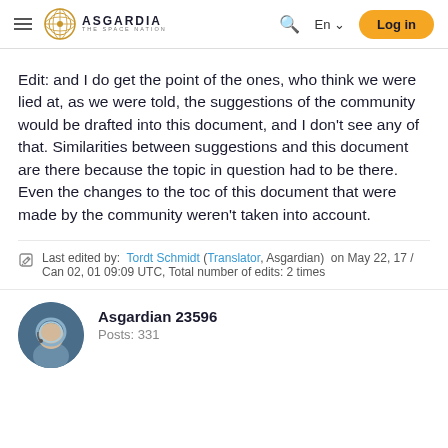ASGARDIA THE SPACE NATION — En — Log in
Edit: and I do get the point of the ones, who think we were lied at, as we were told, the suggestions of the community would be drafted into this document, and I don't see any of that. Similarities between suggestions and this document are there because the topic in question had to be there. Even the changes to the toc of this document that were made by the community weren't taken into account.
Last edited by: Tordt Schmidt (Translator, Asgardian) on May 22, 17 / Can 02, 01 09:09 UTC, Total number of edits: 2 times
Asgardian 23596
Posts: 331